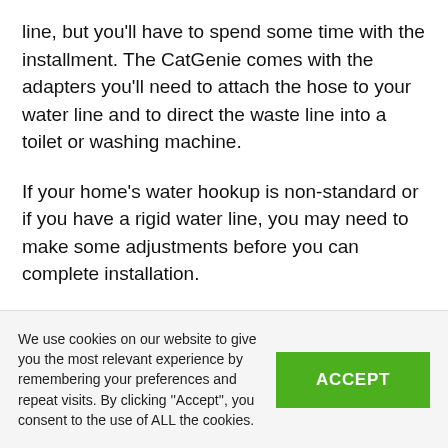line, but you'll have to spend some time with the installment. The CatGenie comes with the adapters you'll need to attach the hose to your water line and to direct the waste line into a toilet or washing machine.
If your home's water hookup is non-standard or if you have a rigid water line, you may need to make some adjustments before you can complete installation.
CatGenie suggests it takes an average of 15
We use cookies on our website to give you the most relevant experience by remembering your preferences and repeat visits. By clicking ''Accept'', you consent to the use of ALL the cookies.